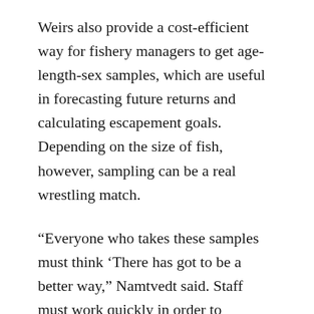Weirs also provide a cost-efficient way for fishery managers to get age-length-sex samples, which are useful in forecasting future returns and calculating escapement goals. Depending on the size of fish, however, sampling can be a real wrestling match.
“Everyone who takes these samples must think ‘There has got to be a better way,” Namtvedt said. Staff must work quickly in order to minimize stress to fish. Research biologists insist that fish are measured to the nearest 5 mm, from the middle of the eye to the fork of the tail. But in practice,